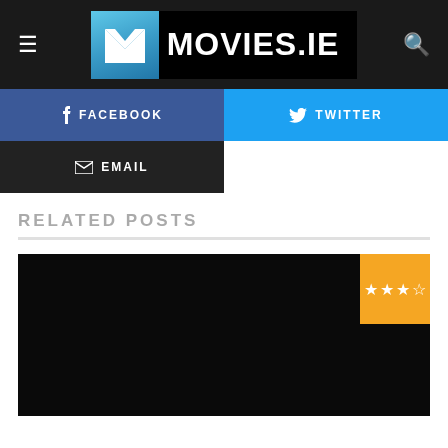MOVIES.IE
[Figure (screenshot): Movies.ie website header with logo]
FACEBOOK share button
TWITTER share button
EMAIL share button
RELATED POSTS
[Figure (photo): Black thumbnail image for related post with orange star rating badge showing approximately 3.5 stars out of 5]